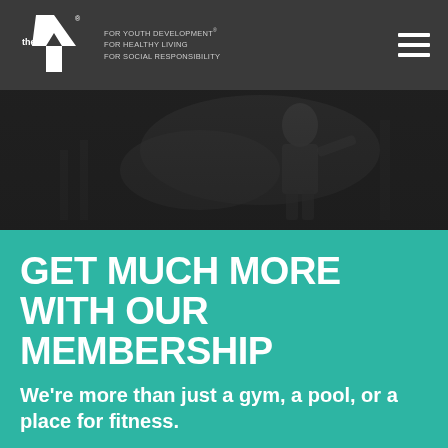[Figure (logo): YMCA 'the Y' logo with chevron/arrow shape in white on dark header bar, with tagline: FOR YOUTH DEVELOPMENT / FOR HEALTHY LIVING / FOR SOCIAL RESPONSIBILITY]
[Figure (photo): Dark gym/fitness setting showing a person exercising on equipment, dimly lit background]
GET MUCH MORE WITH OUR MEMBERSHIP
We're more than just a gym, a pool, or a place for fitness.
MEMBERSHIP INFO